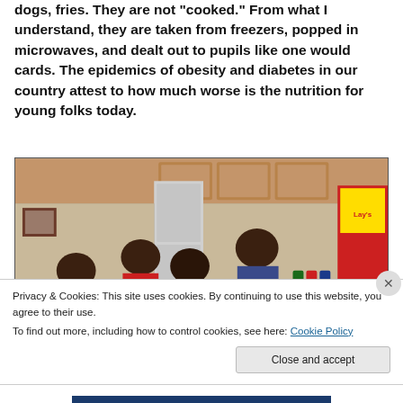dogs, fries. They are not "cooked." From what I understand, they are taken from freezers, popped in microwaves, and dealt out to pupils like one would cards. The epidemics of obesity and diabetes in our country attest to how much worse is the nutrition for young folks today.
[Figure (photo): A family of four standing in a kitchen surrounded by large quantities of food and snack items including Lay's chips bags on the counter.]
Privacy & Cookies: This site uses cookies. By continuing to use this website, you agree to their use.
To find out more, including how to control cookies, see here: Cookie Policy